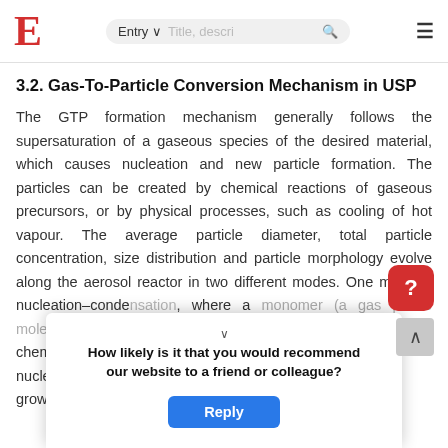E  Entry  Title, descri...  [search icon]  [menu icon]
3.2. Gas-To-Particle Conversion Mechanism in USP
The GTP formation mechanism generally follows the supersaturation of a gaseous species of the desired material, which causes nucleation and new particle formation. The particles can be created by chemical reactions of gaseous precursors, or by physical processes, such as cooling of hot vapour. The average particle diameter, total particle concentration, size distribution and particle morphology evolve along the aerosol reactor in two different modes. One mode is nucleation–conde[nsation], where a monomer (a gas phase molecule) [is for]med by a chemical [reaction and nucleates] u[ntil] nucleatio[n is suppressed and] s[uppressed] d growth o[f existing particles] [is nuclea]tion of the